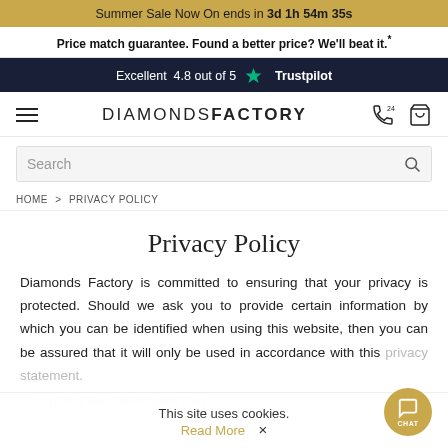Summer Sale Now On ends in 3d 1h 54m 35s
Price match guarantee. Found a better price? We'll beat it.*
Excellent 4.8 out of 5 ★ Trustpilot
DIAMONDS FACTORY
HOME > PRIVACY POLICY
Privacy Policy
Diamonds Factory is committed to ensuring that your privacy is protected. Should we ask you to provide certain information by which you can be identified when using this website, then you can be assured that it will only be used in accordance with this privacy statement.
This site uses cookies.
Read More  ✕